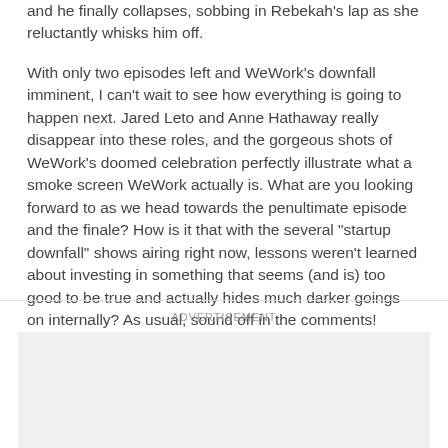and he finally collapses, sobbing in Rebekah's lap as she reluctantly whisks him off.
With only two episodes left and WeWork's downfall imminent, I can't wait to see how everything is going to happen next. Jared Leto and Anne Hathaway really disappear into these roles, and the gorgeous shots of WeWork's doomed celebration perfectly illustrate what a smoke screen WeWork actually is. What are you looking forward to as we head towards the penultimate episode and the finale? How is it that with the several "startup downfall" shows airing right now, lessons weren't learned about investing in something that seems (and is) too good to be true and actually hides much darker goings on internally? As usual, sound off in the comments!
ADVERTISEMENT
[Figure (other): Advertisement placeholder box (gray rectangle)]